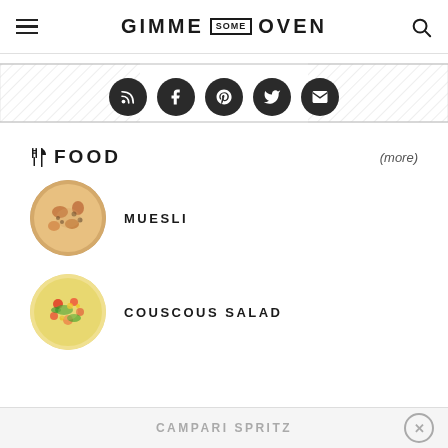GIMME SOME OVEN
[Figure (infographic): Social media icons (RSS, Facebook, Pinterest, Twitter, Email) as dark circular buttons on a hatched background]
FOOD (more)
[Figure (photo): Circular photo of muesli dish]
MUESLI
[Figure (photo): Circular photo of couscous salad]
COUSCOUS SALAD
CAMPARI SPRITZ